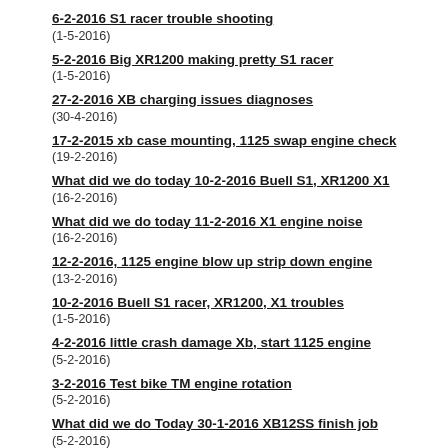6-2-2016 S1 racer trouble shooting
(1-5-2016)
5-2-2016 Big XR1200 making pretty S1 racer
(1-5-2016)
27-2-2016 XB charging issues diagnoses
(30-4-2016)
17-2-2015 xb case mounting, 1125 swap engine check
(19-2-2016)
What did we do today 10-2-2016 Buell S1, XR1200 X1
(16-2-2016)
What did we do today 11-2-2016 X1 engine noise
(16-2-2016)
12-2-2016, 1125 engine blow up strip down engine
(13-2-2016)
10-2-2016 Buell S1 racer, XR1200, X1 troubles
(1-5-2016)
4-2-2016 little crash damage Xb, start 1125 engine
(5-2-2016)
3-2-2016 Test bike TM engine rotation
(5-2-2016)
What did we do Today 30-1-2016 XB12SS finish job
(5-2-2016)
29-1-2016,ULY big service, big inspection SS
(2-2-2016)
28-1-2016 Service Check up Uly daily driver
(30-1-2016)